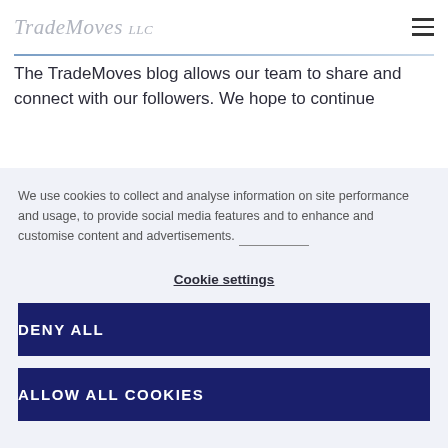TradeMoves LLC
The TradeMoves blog allows our team to share and connect with our followers. We hope to continue
We use cookies to collect and analyse information on site performance and usage, to provide social media features and to enhance and customise content and advertisements.
Cookie settings
DENY ALL
ALLOW ALL COOKIES